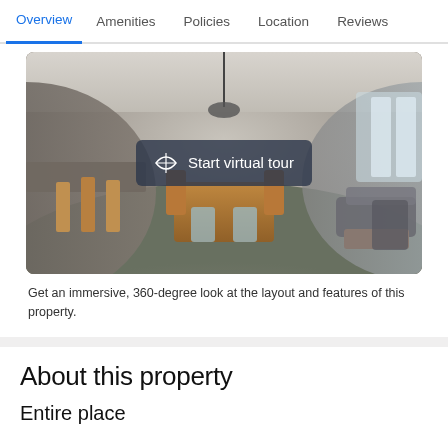Overview | Amenities | Policies | Location | Reviews
[Figure (photo): 360-degree panoramic interior photo of a furnished living/dining area with kitchen visible, showing a wooden dining table and chairs in the center, a kitchen counter on the left, and a living room with sofa on the right. A dark overlay button reads 'Start virtual tour' with a panoramic icon.]
Get an immersive, 360-degree look at the layout and features of this property.
About this property
Entire place